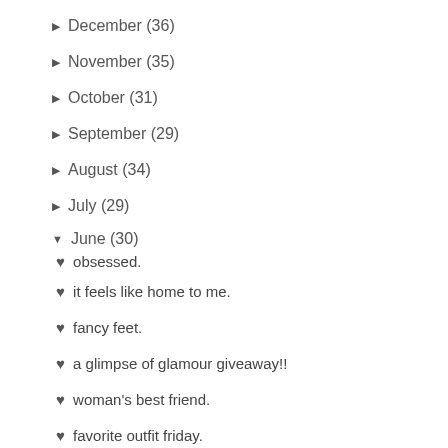▶ December (36)
▶ November (35)
▶ October (31)
▶ September (29)
▶ August (34)
▶ July (29)
▼ June (30)
♥ obsessed.
♥ it feels like home to me.
♥ fancy feet.
♥ a glimpse of glamour giveaway!!
♥ woman's best friend.
♥ favorite outfit friday.
♥ ruffled.